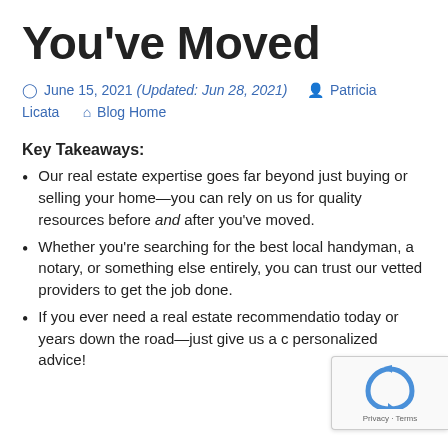You've Moved
June 15, 2021 (Updated: Jun 28, 2021)  Patricia Licata  Blog Home
Key Takeaways:
Our real estate expertise goes far beyond just buying or selling your home—you can rely on us for quality resources before and after you've moved.
Whether you're searching for the best local handyman, a notary, or something else entirely, you can trust our vetted providers to get the job done.
If you ever need a real estate recommendation today or years down the road—just give us a call for personalized advice!